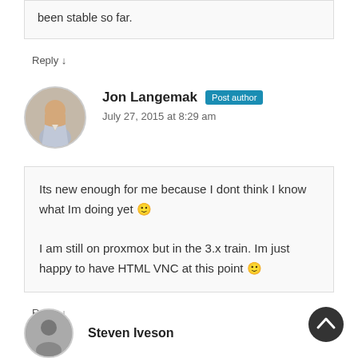been stable so far.
Reply ↓
Jon Langemak  Post author
July 27, 2015 at 8:29 am
Its new enough for me because I dont think I know what Im doing yet 🙂

I am still on proxmox but in the 3.x train. Im just happy to have HTML VNC at this point 🙂
Reply ↓
Steven Iveson